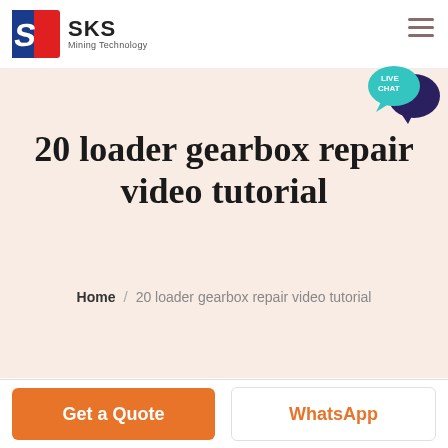[Figure (logo): SKS Mining Technology logo with stylized red and blue 'S' icon and company name]
20 loader gearbox repair video tutorial
Home / 20 loader gearbox repair video tutorial
Get a Quote
WhatsApp